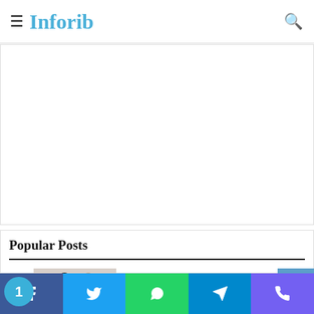Inforib
[Figure (other): Advertisement block - white/blank space]
Popular Posts
[Figure (illustration): Small illustration of a couple: man in suit and woman in wedding dress]
10 Signs He Is Not Ripe For Marriage
May 2, 2020
Social share bar: Facebook, Twitter, WhatsApp, Telegram, Viber